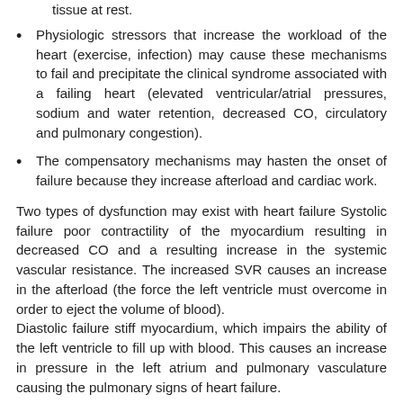tissue at rest.
Physiologic stressors that increase the workload of the heart (exercise, infection) may cause these mechanisms to fail and precipitate the clinical syndrome associated with a failing heart (elevated ventricular/atrial pressures, sodium and water retention, decreased CO, circulatory and pulmonary congestion).
The compensatory mechanisms may hasten the onset of failure because they increase afterload and cardiac work.
Two types of dysfunction may exist with heart failure Systolic failure poor contractility of the myocardium resulting in decreased CO and a resulting increase in the systemic vascular resistance. The increased SVR causes an increase in the afterload (the force the left ventricle must overcome in order to eject the volume of blood). Diastolic failure stiff myocardium, which impairs the ability of the left ventricle to fill up with blood. This causes an increase in pressure in the left atrium and pulmonary vasculature causing the pulmonary signs of heart failure.